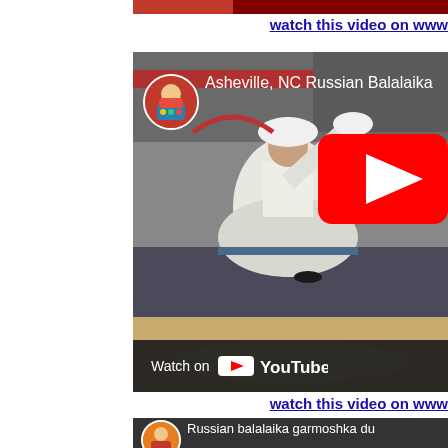[Figure (screenshot): Top of page showing partial video thumbnail at very top edge and a 'watch this video on www...' link (blue underlined text, cropped).]
watch this video on www
[Figure (screenshot): YouTube video embed thumbnail showing a Russian dancer in white dress performing on a stage with audience seated on the floor. Title reads 'Asheville, NC Russian Balalaika...' with avatar and YouTube play button overlay and Watch on YouTube bar at bottom.]
watch this video on www
[Figure (screenshot): Bottom partial YouTube video embed showing avatar and title 'Russian balalaika garmoshka du...']